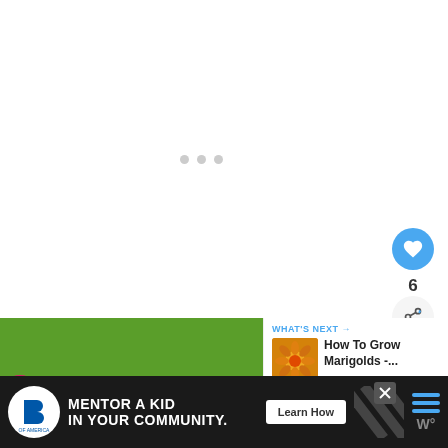[Figure (screenshot): White background area with three gray loading dots centered, representing a loading/buffering state of a webpage]
[Figure (infographic): Blue circular heart/like button with count '6' below it, and a share button beneath that, positioned on the right side]
[Figure (photo): Colorful flower field with pink, orange, red, and white zinnia flowers against green foliage]
WHAT'S NEXT →
How To Grow Marigolds -...
[Figure (photo): Thumbnail of orange marigold flower]
[Figure (infographic): Advertisement banner: Big Brothers Big Sisters logo, 'MENTOR A KID IN YOUR COMMUNITY.' text, Learn How button, decorative diagonal stripes, and a W logo]